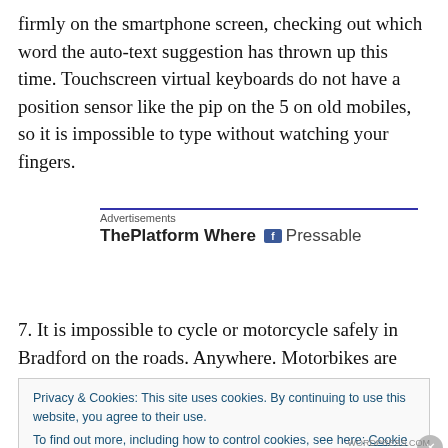firmly on the smartphone screen, checking out which word the auto-text suggestion has thrown up this time. Touchscreen virtual keyboards do not have a position sensor like the pip on the 5 on old mobiles, so it is impossible to type without watching your fingers.
[Figure (other): Advertisement box with blue top border, label 'Advertisements', bold text 'ThePlatform Where' and Facebook icon with 'Pressable' text]
7. It is impossible to cycle or motorcycle safely in Bradford on the roads. Anywhere. Motorbikes are seen as being
Privacy & Cookies: This site uses cookies. By continuing to use this website, you agree to their use.
To find out more, including how to control cookies, see here: Cookie Policy
WORDPRESS.COM